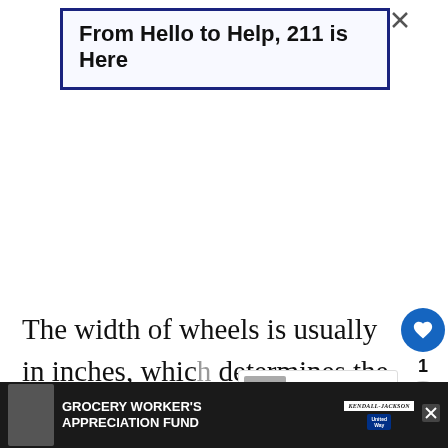[Figure (screenshot): Advertisement banner with dark blue border reading 'From Hello to Help, 211 is Here' with a close (X) button]
The width of wheels is usually in inches, which determines the distance across its bar... However, it varies in every vehicle and depends on the choice of driver.
[Figure (screenshot): Bottom advertisement: Grocery Worker's Appreciation Fund with Kendall Jackson and United Way logos on a dark background]